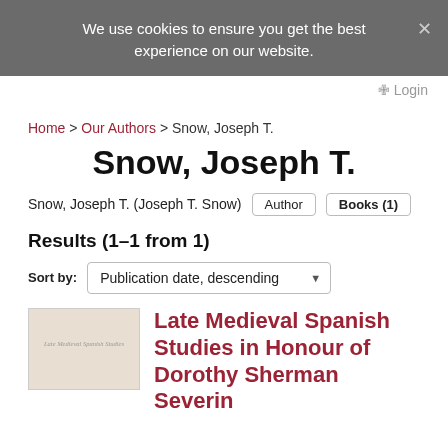We use cookies to ensure you get the best experience on our website.
Login
Home > Our Authors > Snow, Joseph T.
Snow, Joseph T.
Snow, Joseph T. (Joseph T. Snow)  Author  Books (1)
Results (1–1 from 1)
Sort by: Publication date, descending
[Figure (illustration): Book cover thumbnail with beige/tan background and small italic text reading 'Late Medieval Spanish Studies']
Late Medieval Spanish Studies in Honour of Dorothy Sherman Severin